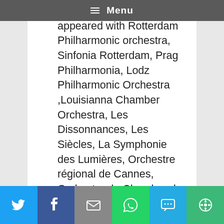Menu
As a soloist, Julien has appeared with Rotterdam Philharmonic orchestra, Sinfonia Rotterdam, Prag Philharmonia, Lodz Philharmonic Orchestra ,Louisianna Chamber Orchestra, Les Dissonnances, Les Siècles, La Symphonie des Lumières, Orchestre régional de Cannes, Orchestre de Chambre de France, Banda Sinfónica Municipal de Madrid, Orchestre de Picardie… As chamber musician, he is very much in demand and performs in prestigious Festivals. He is a member of Het Collectief and Calliopée Ensemble, artistic director of the Rotterdam Chamber Music Society and of Festival International de Musique de Chambre de Thèze.
Social share bar: Twitter, Facebook, Email, WhatsApp, SMS, More